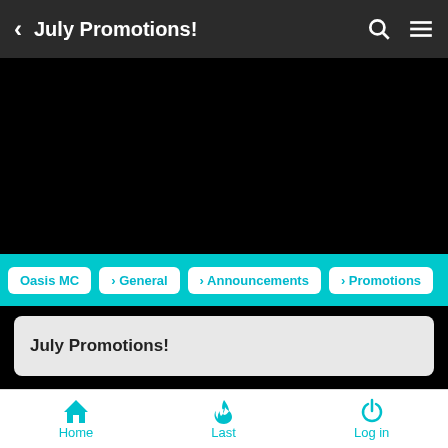< July Promotions!
[Figure (screenshot): Black video/media area]
Oasis MC > General > Announcements > Promotions
July Promotions!
[Figure (photo): Avatar group with 4 user avatars and +15 indicator]
Home | Last | Log in